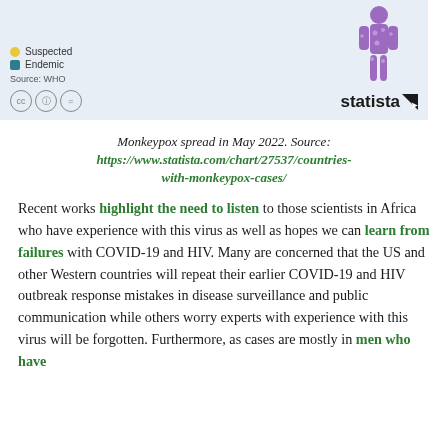[Figure (infographic): Top portion of a Statista infographic showing a map legend with 'Suspected' (yellow dot) and 'Endemic' (teal square) indicators, Source: WHO, Creative Commons license icons, Statista logo, and a purple illustrated human figure with spots indicating monkeypox symptoms.]
Monkeypox spread in May 2022. Source: https://www.statista.com/chart/27537/countries-with-monkeypox-cases/
Recent works highlight the need to listen to those scientists in Africa who have experience with this virus as well as hopes we can learn from failures with COVID-19 and HIV. Many are concerned that the US and other Western countries will repeat their earlier COVID-19 and HIV outbreak response mistakes in disease surveillance and public communication while others worry experts with experience with this virus will be forgotten. Furthermore, as cases are mostly in men who have